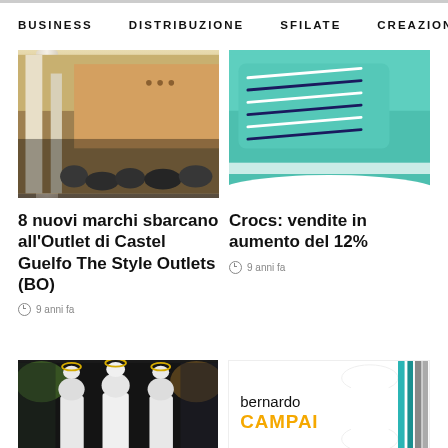BUSINESS   DISTRIBUZIONE   SFILATE   CREAZION  >
[Figure (photo): Outdoor outlet shopping center with columns and crowd of people]
[Figure (photo): Close-up of teal/mint colored sneaker with white and navy laces]
8 nuovi marchi sbarcano all'Outlet di Castel Guelfo The Style Outlets (BO)
9 anni fa
Crocs: vendite in aumento del 12%
9 anni fa
[Figure (photo): Dark fashion show with mannequins in white shirts with halos and colored spotlights]
[Figure (logo): Bernardo Campai brand logo with teal hair strands on right side]